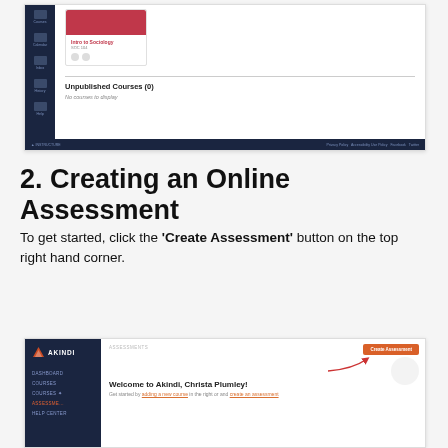[Figure (screenshot): Canvas LMS dashboard screenshot showing a course card for 'Intro to Sociology' with a red header, and an 'Unpublished Courses (0)' section with 'No courses to display' text. Dark sidebar on left with icons. Footer bar at bottom.]
2. Creating an Online Assessment
To get started, click the 'Create Assessment' button on the top right hand corner.
[Figure (screenshot): Akindi dashboard screenshot showing dark navy sidebar with logo and nav items (Dashboard, Courses, Courses, Assessments, Help Center), main area with 'ASSESSMENTS' label, orange 'Create Assessment' button in top right with arrow pointing to it, and welcome message 'Welcome to Akindi, Christa Plumley!' with subtext.]